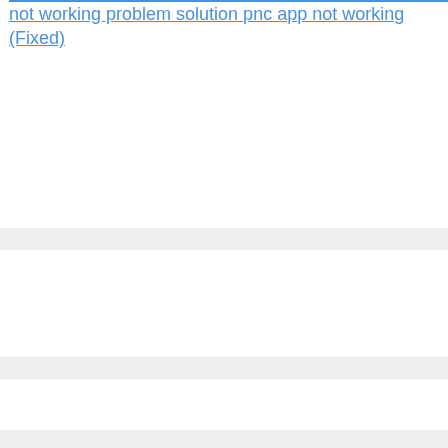not working problem solution pnc app not working (Fixed)